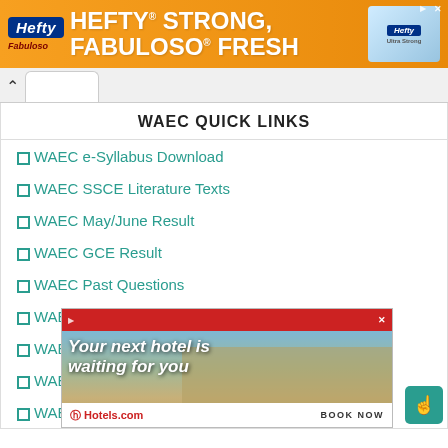[Figure (other): Hefty Fabuloso advertisement banner with orange background, Hefty and Fabuloso logos, text HEFTY STRONG FABULOSO FRESH, and product image]
WAEC QUICK LINKS
WAEC e-Syllabus Download
WAEC SSCE Literature Texts
WAEC May/June Result
WAEC GCE Result
WAEC Past Questions
WAEC May/June Registration
[Figure (other): Hotels.com advertisement overlay with red header, hotel building photo background, text 'Your next hotel is waiting for you', and BOOK NOW button]